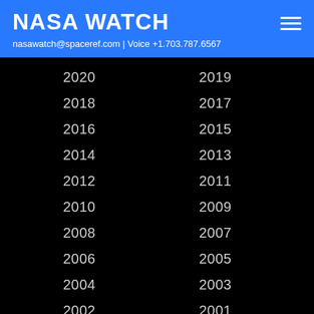NASA WATCH
nasawatch@spaceref.com | Voice +1.703.787.6567
2020
2019
2018
2017
2016
2015
2014
2013
2012
2011
2010
2009
2008
2007
2006
2005
2004
2003
2002
2001
2000
1999
1998
1997
1996
1995
1994
1993